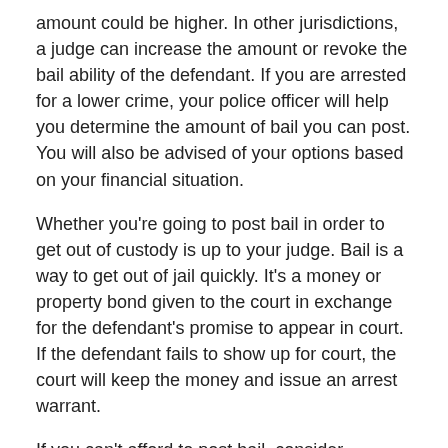amount could be higher. In other jurisdictions, a judge can increase the amount or revoke the bail ability of the defendant. If you are arrested for a lower crime, your police officer will help you determine the amount of bail you can post. You will also be advised of your options based on your financial situation.
Whether you're going to post bail in order to get out of custody is up to your judge. Bail is a way to get out of jail quickly. It's a money or property bond given to the court in exchange for the defendant's promise to appear in court. If the defendant fails to show up for court, the court will keep the money and issue an arrest warrant.
If you can't afford to post bail, consider alternative methods of posting bail. You can make arrangements with a friend or family member to cover the cost. You may even want to contact a bail bondsman to make sure your bail money is safe and secure. Your lawyer or bail bondsman can help you with this. You can even have a notarized affidavit